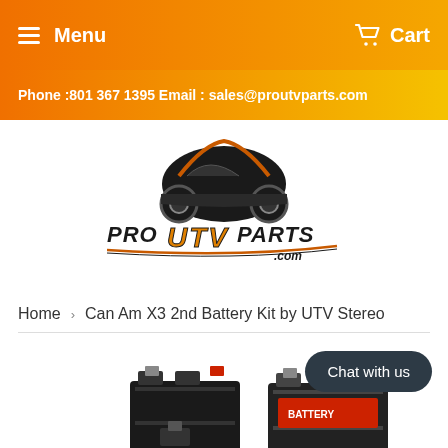Menu   Cart
Phone :801 367 1395 Email : sales@proutvparts.com
[Figure (logo): Pro UTV Parts logo with UTV vehicle illustration and orange/gold text reading PRO UTV PARTS .com]
Home  >  Can Am X3 2nd Battery Kit by UTV Stereo
[Figure (photo): Partial product photo showing two black batteries at the bottom of the page]
Chat with us